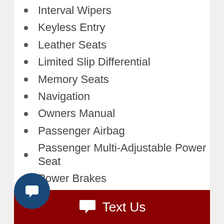Interval Wipers
Keyless Entry
Leather Seats
Limited Slip Differential
Memory Seats
Navigation
Owners Manual
Passenger Airbag
Passenger Multi-Adjustable Power Seat
Power Brakes
Power Locks
Power Mirrors
Power Seats
Power Steering
Power Windows
Removable Top
Telescopic Steering Column
Text Us